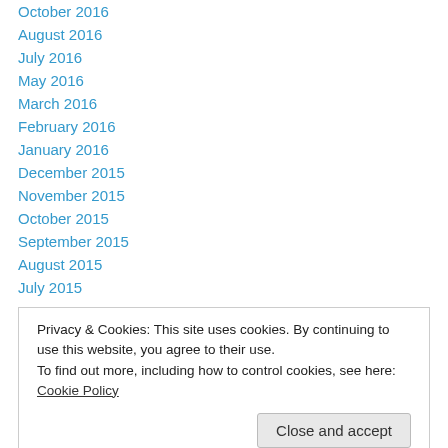October 2016
August 2016
July 2016
May 2016
March 2016
February 2016
January 2016
December 2015
November 2015
October 2015
September 2015
August 2015
July 2015
Privacy & Cookies: This site uses cookies. By continuing to use this website, you agree to their use. To find out more, including how to control cookies, see here: Cookie Policy
November 2014